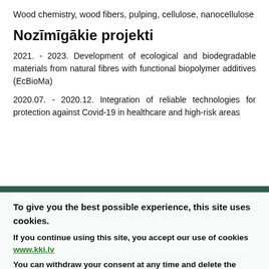Wood chemistry, wood fibers, pulping, cellulose, nanocellulose
Nozīmīgākie projekti
2021. - 2023. Development of ecological and biodegradable materials from natural fibres with functional biopolymer additives (EcBioMa)
2020.07. - 2020.12. Integration of reliable technologies for protection against Covid-19 in healthcare and high-risk areas
2018. - 2121. Wood Mimicking Biocomposites (WOODMIMIC)
2017. - 2020. ERAF Postdoc Project. Study of novel method for nanocellulose isolation from biomass and its residues
2016. - 2019. ERAF Project. Rigid Polyurethane/Polyisocyanurate Foam Thermal Insulation Material Reinforced with Nano/MicroSize Cellulose
To give you the best possible experience, this site uses cookies.
If you continue using this site, you accept our use of cookies www.kki.lv
You can withdraw your consent at any time and delete the cookies that are stored on your computer.
See more
2014. - 2015. ERAF Project. Investigation of novel methods...